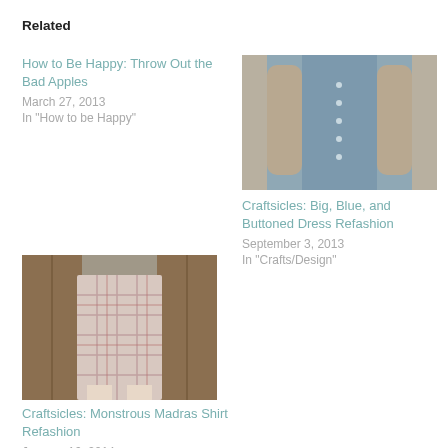Related
How to Be Happy: Throw Out the Bad Apples
March 27, 2013
In "How to be Happy"
[Figure (photo): Person wearing a blue buttoned dress, torso and hands visible, plain background]
Craftsicles: Big, Blue, and Buttoned Dress Refashion
September 3, 2013
In "Crafts/Design"
[Figure (photo): Person wearing a plaid madras shirt refashioned, standing in front of wooden doors]
Craftsicles: Monstrous Madras Shirt Refashion
January 16, 2014
In "Crafts/Design"